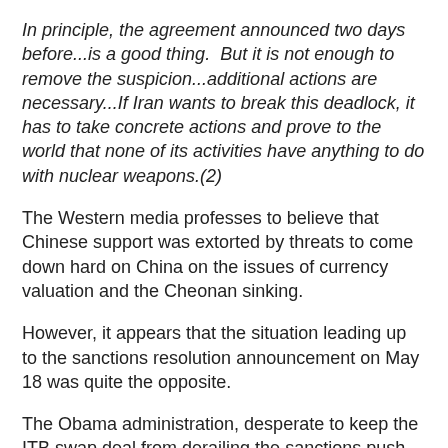In principle, the agreement announced two days before...is a good thing.  But it is not enough to remove the suspicion...additional actions are necessary...If Iran wants to break this deadlock, it has to take concrete actions and prove to the world that none of its activities have anything to do with nuclear weapons.(2)
The Western media professes to believe that Chinese support was extorted by threats to come down hard on China on the issues of currency valuation and the Cheonan sinking.
However, it appears that the situation leading up to the sanctions resolution announcement on May 18 was quite the opposite.
The Obama administration, desperate to keep the ITB swap deal from derailing the sanctions push, was forced to finalize its negotiations with Russia and China in conditions that can charitably be described as adverse.
Russia and China were in the position to make demands-- and they did, as the New York Times reported:
As a result, the press was reporting that the United States...